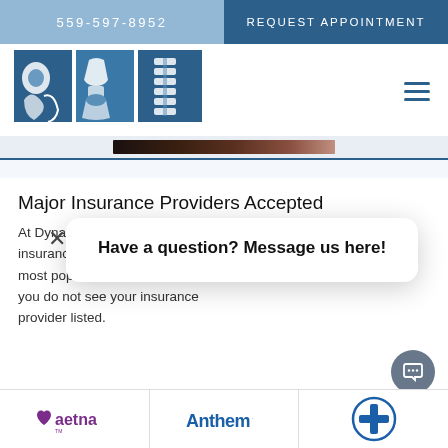559-597-8952
REQUEST APPOINTMENT
[Figure (logo): Orthopedic/chiropractic clinic logo with bone/joint silhouette icons on blue background tiles]
Major Insurance Providers Accepted
At Dynamic [obscured by popup] insurance pla[ns we accept the] most popular [plans. Call us if] you do not see your insurance provider listed.
Have a question? Message us here!
[Figure (logo): Aetna logo (purple heart with aetna wordmark)]
[Figure (logo): Anthem logo (blue Anthem wordmark)]
[Figure (logo): Blue Cross Blue Shield logo (blue cross and shield symbol)]